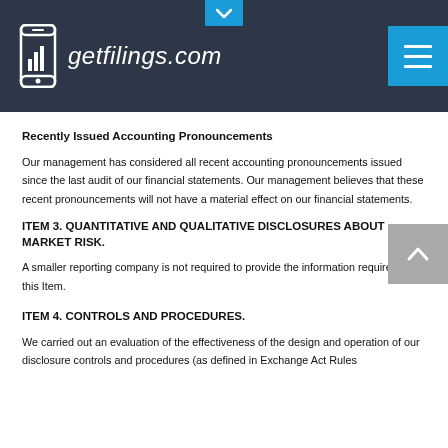getfilings.com
Recently Issued Accounting Pronouncements
Our management has considered all recent accounting pronouncements issued since the last audit of our financial statements. Our management believes that these recent pronouncements will not have a material effect on our financial statements.
ITEM 3. QUANTITATIVE AND QUALITATIVE DISCLOSURES ABOUT MARKET RISK.
A smaller reporting company is not required to provide the information required by this Item.
ITEM 4. CONTROLS AND PROCEDURES.
We carried out an evaluation of the effectiveness of the design and operation of our disclosure controls and procedures (as defined in Exchange Act Rules